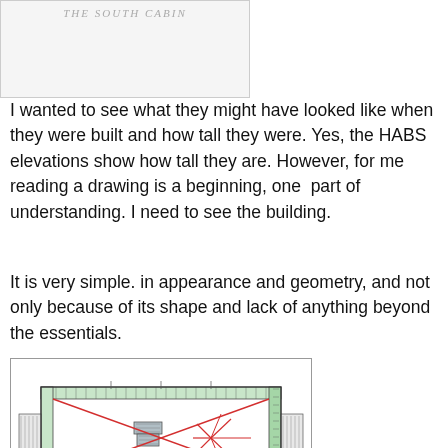[Figure (other): Top image placeholder showing 'THE SOUTH CABIN' label at top, light gray box]
I wanted to see what they might have looked like when they were built and how tall they were. Yes, the HABS elevations show how tall they are. However, for me reading a drawing is a beginning, one part of understanding. I need to see the building.
It is very simple. in appearance and geometry, and not only because of its shape and lack of anything beyond the essentials.
[Figure (engineering-diagram): Architectural floor plan drawing with red diagonal lines forming an X pattern with a starburst in the center-right, showing wall hatching in green/gray, a central chimney/column element, and window/door details on the sides. Red lines cross the plan diagonally.]